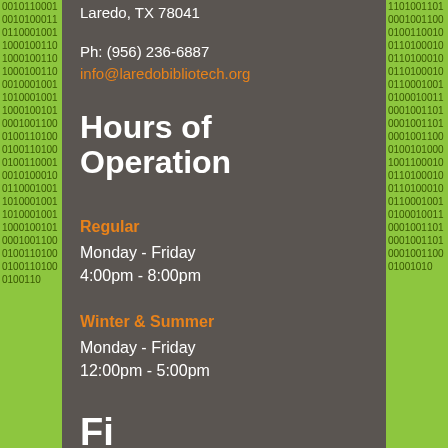Laredo, TX 78041
Ph: (956) 236-6887
info@laredobibliotech.org
Hours of Operation
Regular
Monday - Friday
4:00pm - 8:00pm
Winter & Summer
Monday - Friday
12:00pm - 5:00pm
Find us on Facebook